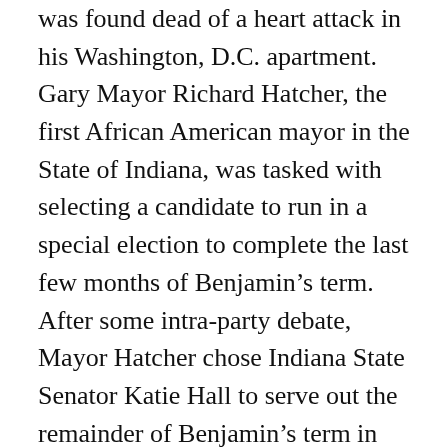was found dead of a heart attack in his Washington, D.C. apartment. Gary Mayor Richard Hatcher, the first African American mayor in the State of Indiana, was tasked with selecting a candidate to run in a special election to complete the last few months of Benjamin’s term. After some intra-party debate, Mayor Hatcher chose Indiana State Senator Katie Hall to serve out the remainder of Benjamin’s term in the U.S. House of Representatives. In November, Hall was elected to Indiana’s first congressional district seat, becoming the first African American to represent Indiana in Congress. When Hall arrived in Washington, D.C., she served as chairwoman of the Subcommittee on Census and Population, which was responsible for holidays. Her